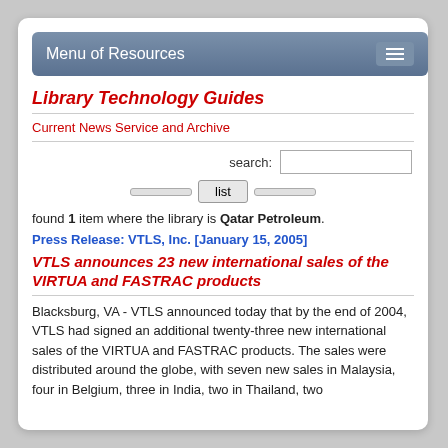Menu of Resources
Library Technology Guides
Current News Service and Archive
search:
list
found 1 item where the library is Qatar Petroleum.
Press Release: VTLS, Inc. [January 15, 2005]
VTLS announces 23 new international sales of the VIRTUA and FASTRAC products
Blacksburg, VA - VTLS announced today that by the end of 2004, VTLS had signed an additional twenty-three new international sales of the VIRTUA and FASTRAC products. The sales were distributed around the globe, with seven new sales in Malaysia, four in Belgium, three in India, two in Thailand, two